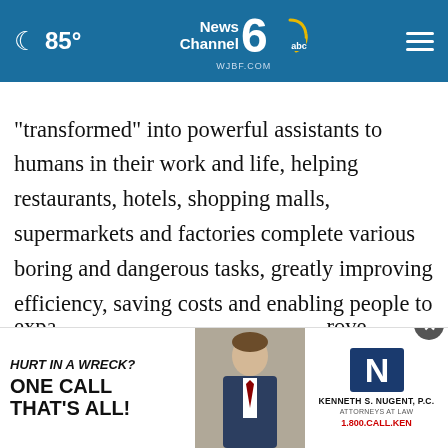85° News Channel 6 abc WJBF.COM
"transformed" into powerful assistants to humans in their work and life, helping restaurants, hotels, shopping malls, supermarkets and factories complete various boring and dangerous tasks, greatly improving efficiency, saving costs and enabling people to spend their time on more important, interesting and creative work. At the same time, evolving and improving big data analytics and AI interaction technologies are allowing robots to expa... ...rove
[Figure (advertisement): Ad banner: HURT IN A WRECK? ONE CALL THAT'S ALL! with photo of man in suit and Kenneth S. Nugent, P.C. Attorneys at Law logo, 1.800.CALL.KEN]